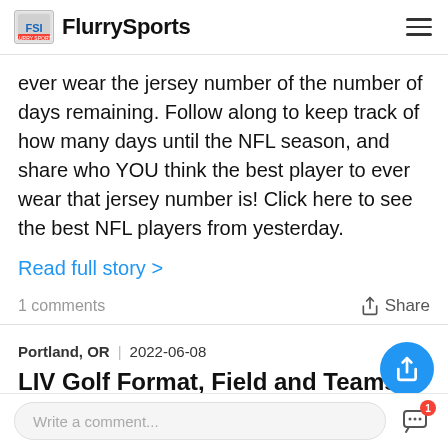FlurrySports
ever wear the jersey number of the number of days remaining. Follow along to keep track of how many days until the NFL season, and share who YOU think the best player to ever wear that jersey number is! Click here to see the best NFL players from yesterday.
Read full story >
1 comments     Share
Portland, OR  2022-06-08
LIV Golf Format, Field and Teams f